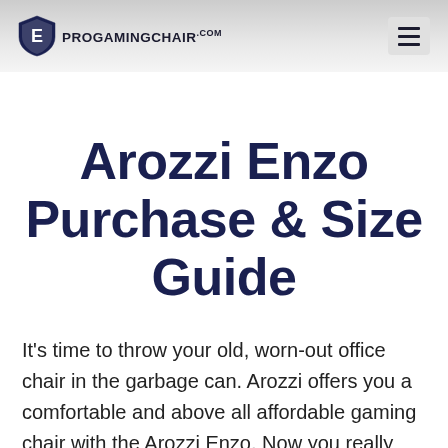PROGAMINGCHAIR.com
Arozzi Enzo Purchase & Size Guide
It's time to throw your old, worn-out office chair in the garbage can. Arozzi offers you a comfortable and above all affordable gaming chair with the Arozzi Enzo. Now you really have